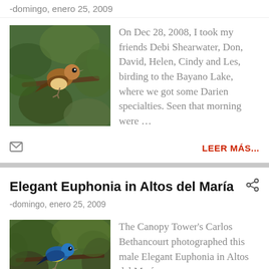-domingo, enero 25, 2009
[Figure (photo): Bird perched on a branch among green leaves]
On Dec 28, 2008, I took my friends Debi Shearwater, Don, David, Helen, Cindy and Les, birding to the Bayano Lake, where we got some Darien specialties. Seen that morning were ...
LEER MÁS...
Elegant Euphonia in Altos del María
-domingo, enero 25, 2009
[Figure (photo): Colorful bird in tree with green foliage - Elegant Euphonia]
The Canopy Tower's Carlos Bethancourt photographed this male Elegant Euphonia in Altos del María